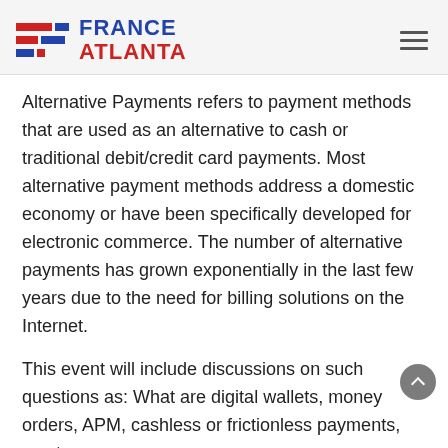France Atlanta
Alternative Payments refers to payment methods that are used as an alternative to cash or traditional debit/credit card payments. Most alternative payment methods address a domestic economy or have been specifically developed for electronic commerce. The number of alternative payments has grown exponentially in the last few years due to the need for billing solutions on the Internet.
This event will include discussions on such questions as: What are digital wallets, money orders, APM, cashless or frictionless payments, cryptocurrency, Bitcoins, etc? How secure are they? Should